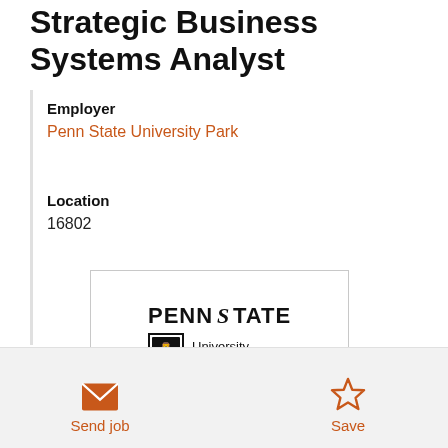Strategic Business Systems Analyst
Employer
Penn State University Park
Location
16802
[Figure (logo): Penn State University Park logo — stylized shield with lion and text 'PENNSTATE University Park']
Send job
Save